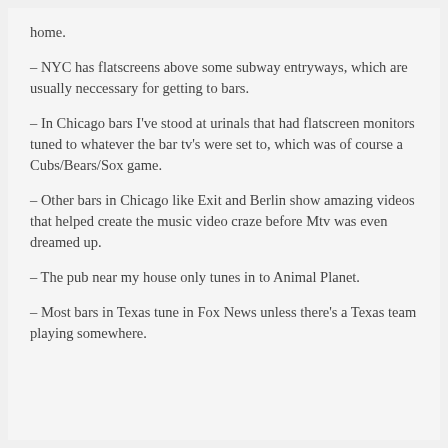home.
– NYC has flatscreens above some subway entryways, which are usually neccessary for getting to bars.
– In Chicago bars I've stood at urinals that had flatscreen monitors tuned to whatever the bar tv's were set to, which was of course a Cubs/Bears/Sox game.
– Other bars in Chicago like Exit and Berlin show amazing videos that helped create the music video craze before Mtv was even dreamed up.
– The pub near my house only tunes in to Animal Planet.
– Most bars in Texas tune in Fox News unless there's a Texas team playing somewhere.